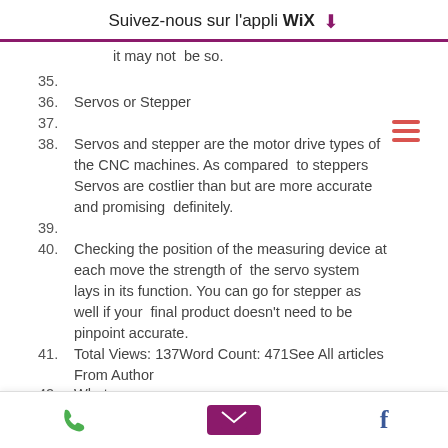Suivez-nous sur l'appli WiX ⬇
it may not  be so.
35.
36. Servos or Stepper
37.
38. Servos and stepper are the motor drive types of the CNC machines. As compared  to steppers Servos are costlier than but are more accurate and promising  definitely.
39.
40. Checking the position of the measuring device at each move the strength of  the servo system lays in its function. You can go for stepper as well if your  final product doesn't need to be pinpoint accurate.
41. Total Views: 137Word Count: 471See All articles From Author
42. What...
📞  ✉  f